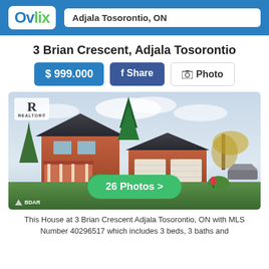Ovlix — Adjala Tosorontio, ON
3 Brian Crescent, Adjala Tosorontio
$ 999.000   f Share   Photo
[Figure (photo): Exterior photo of a two-storey brick house with attached garage, front porch, manicured lawn, evergreen trees, and a boat in the driveway. Realtor and BDAR watermarks visible. Green button reads '26 Photos >']
This House at 3 Brian Crescent Adjala Tosorontio, ON with MLS Number 40296517 which includes 3 beds, 3 baths and